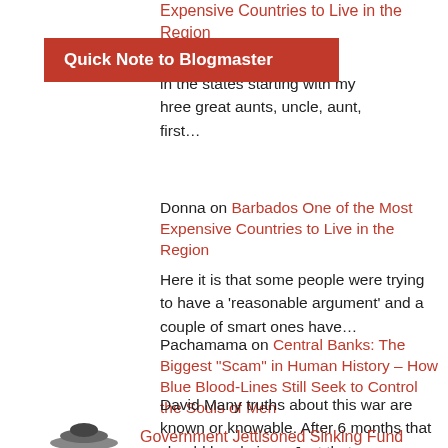Expensive Countries to Live in the Region
[Figure (other): Red banner with text 'Quick Note to Blogmaster']
in the states starting with my three great aunts, uncle, aunt, first…
Donna on Barbados One of the Most Expensive Countries to Live in the Region
Here it is that some people were trying to have a 'reasonable argument' and a couple of smart ones have…
Pachamama on Central Banks: The Biggest "Scam" in Human History – How Blue Blood-Lines Still Seek to Control the Souls of Men
David Many truths about this war are known or knowable. After 6 months that should be obvious. Just that you…
Government Jettisoned Sinking Fund